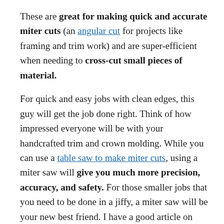These are great for making quick and accurate miter cuts (an angular cut for projects like framing and trim work) and are super-efficient when needing to cross-cut small pieces of material.
For quick and easy jobs with clean edges, this guy will get the job done right. Think of how impressed everyone will be with your handcrafted trim and crown molding. While you can use a table saw to make miter cuts, using a miter saw will give you much more precision, accuracy, and safety. For those smaller jobs that you need to be done in a jiffy, a miter saw will be your new best friend. I have a good article on Miter saws with more information here. (Link Here)